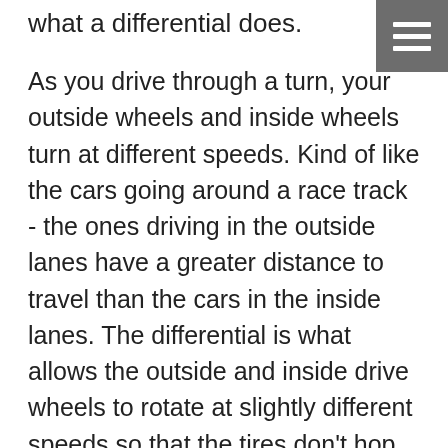what a differential does.
[Figure (other): Hamburger menu icon — three white horizontal lines on a dark grey square background, positioned top-right corner]
As you drive through a turn, your outside wheels and inside wheels turn at different speeds. Kind of like the cars going around a race track - the ones driving in the outside lanes have a greater distance to travel than the cars in the inside lanes. The differential is what allows the outside and inside drive wheels to rotate at slightly different speeds so that the tires don't hop or skip while taking corners, or lose traction in dirt or snow on Los Altos area roads. Differentials have gears in them that transfer the power from the drive train to your wheels - which is why they're often referred to as gearboxes. The gears need to be very strong to do this work, and they need to be properly